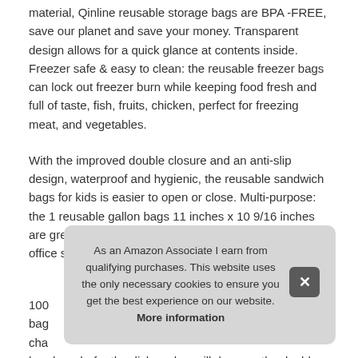material, Qinline reusable storage bags are BPA -FREE, save our planet and save your money. Transparent design allows for a quick glance at contents inside. Freezer safe & easy to clean: the reusable freezer bags can lock out freezer burn while keeping food fresh and full of taste, fish, fruits, chicken, perfect for freezing meat, and vegetables.
With the improved double closure and an anti-slip design, waterproof and hygienic, the reusable sandwich bags for kids is easier to open or close. Multi-purpose: the 1 reusable gallon bags 11 inches x 10 9/16 inches are great for marinating meats, lunch, knitting materials, office supplies.1
More information
As an Amazon Associate I earn from qualifying purchases. This website uses the only necessary cookies to ensure you get the best experience on our website. More information
100... bag... cha... hand wash, for the dishwasher will damage the double closure